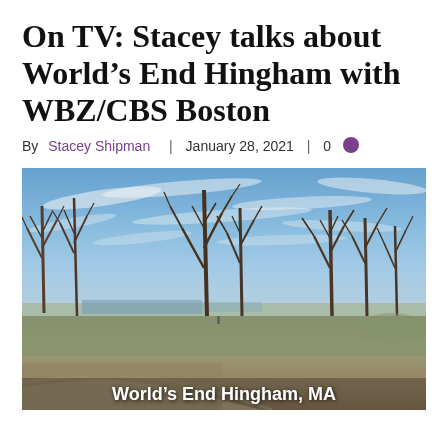On TV: Stacey talks about World's End Hingham with WBZ/CBS Boston
By Stacey Shipman | January 28, 2021 | 0
[Figure (photo): Outdoor winter landscape photograph of World's End Hingham, MA. Bare deciduous trees against a blue sky with wispy white clouds. Open grassy field in the midground with a paved path curving through. Water visible in the distant background. Brown dormant grass and bare earth in the foreground.]
World's End Hingham, MA